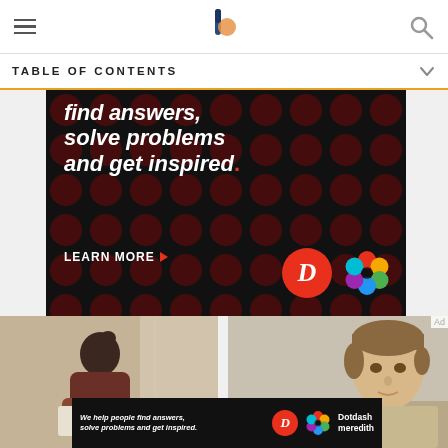Navigation header with hamburger menu, site logo, and search icon
TABLE OF CONTENTS
[Figure (photo): Advertisement banner on black background with red dot pattern. Text reads 'find answers, solve problems and get inspired.' with a LEARN MORE button and Dotdash/Meredith logos.]
[Figure (photo): Photo of a young woman reading/writing near a window, with a teal edit icon overlay in the lower center.]
[Figure (photo): Photo of a young man (resembling Luke Skywalker) in a desert landscape with spacecraft in background.]
[Figure (photo): Bottom advertisement banner: 'We help people find answers, solve problems and get inspired.' with Dotdash Meredith logo.]